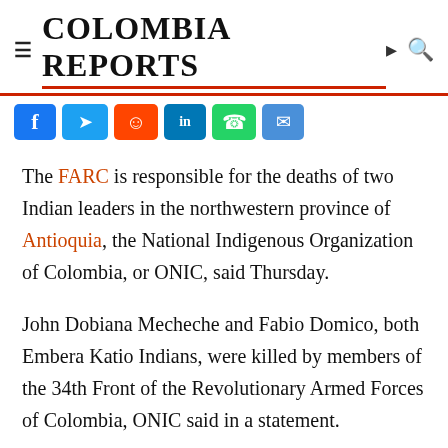COLOMBIA REPORTS
[Figure (other): Social media sharing buttons: Facebook, Twitter, Reddit, LinkedIn, WhatsApp, Email]
The FARC is responsible for the deaths of two Indian leaders in the northwestern province of Antioquia, the National Indigenous Organization of Colombia, or ONIC, said Thursday.
John Dobiana Mecheche and Fabio Domico, both Embera Katio Indians, were killed by members of the 34th Front of the Revolutionary Armed Forces of Colombia, ONIC said in a statement.